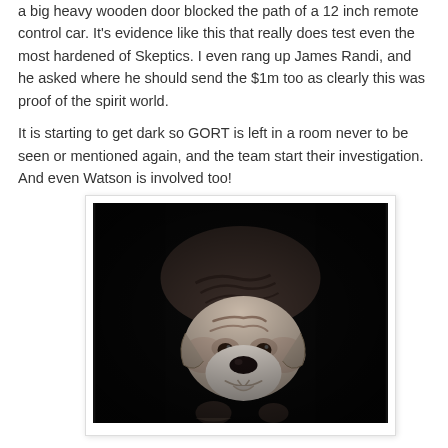a big heavy wooden door blocked the path of a 12 inch remote control car. It's evidence like this that really does test even the most hardened of Skeptics. I even rang up James Randi, and he asked where he should send the $1m too as clearly this was proof of the spirit world.
It is starting to get dark so GORT is left in a room never to be seen or mentioned again, and the team start their investigation. And even Watson is involved too!
[Figure (photo): Black and white photograph of a bulldog puppy looking up at the camera, with a dark background. The dog has a wrinkled face and white muzzle.]